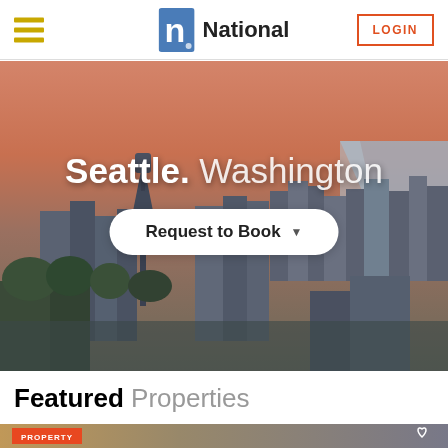[Figure (logo): National company logo with stylized N icon and text]
[Figure (photo): Seattle Washington skyline photo with Space Needle, city buildings, water, and mountain at dusk/sunset with orange-pink sky]
Seattle. Washington
Request to Book
Featured Properties
[Figure (photo): Bottom strip showing start of featured property card with PROPERTY badge and heart icon]